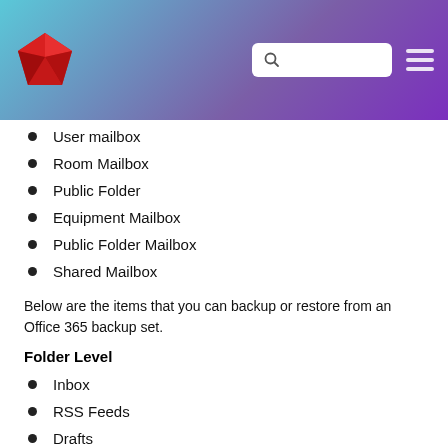[Figure (other): Website header with gradient background (teal to purple), red gem logo on left, search box and hamburger menu on right]
User mailbox
Room Mailbox
Public Folder
Equipment Mailbox
Public Folder Mailbox
Shared Mailbox
Below are the items that you can backup or restore from an Office 365 backup set.
Folder Level
Inbox
RSS Feeds
Drafts
Junk Email